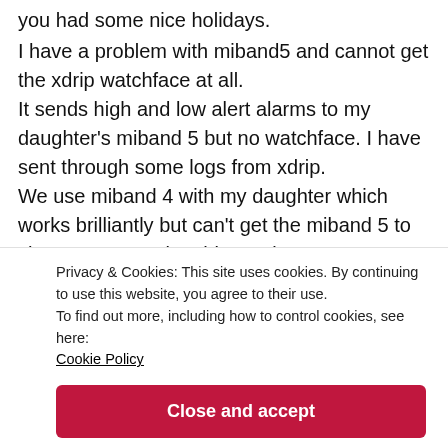you had some nice holidays.
I have a problem with miband5 and cannot get the xdrip watchface at all.
It sends high and low alert alarms to my daughter's miband 5 but no watchface. I have sent through some logs from xdrip.
We use miband 4 with my daughter which works brilliantly but can't get the miband 5 to show. We are using this version
0.4.1.2
Privacy & Cookies: This site uses cookies. By continuing to use this website, you agree to their use.
To find out more, including how to control cookies, see here:
Cookie Policy
Close and accept